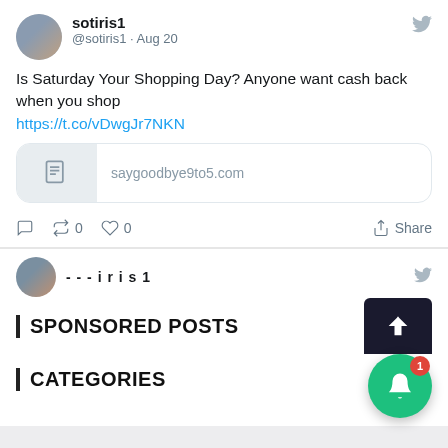sotiris1 @sotiris1 · Aug 20
Is Saturday Your Shopping Day? Anyone want cash back when you shop https://t.co/vDwgJr7NKN
[Figure (screenshot): Link preview box showing saygoodbye9to5.com with a document icon]
0  0  Share (retweet and like counts)
SPONSORED POSTS
CATEGORIES